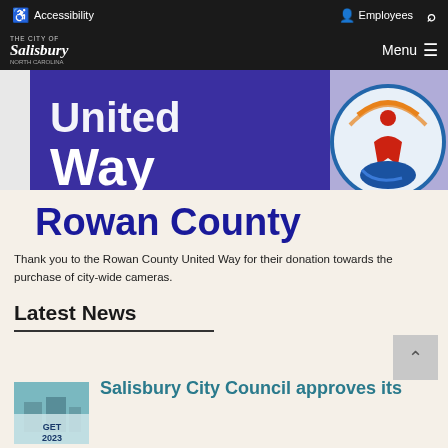Accessibility  Employees  [Search]
The City of Salisbury North Carolina  Menu
[Figure (photo): United Way Rowan County banner image showing United Way logo in blue and purple with circular United Way hand logo on right side, and 'Rowan County' text in bold dark blue below]
Thank you to the Rowan County United Way for their donation towards the purchase of city-wide cameras.
Latest News
[Figure (photo): Small thumbnail image of a budget document cover labeled 'GET 2023' with a building image]
Salisbury City Council approves its